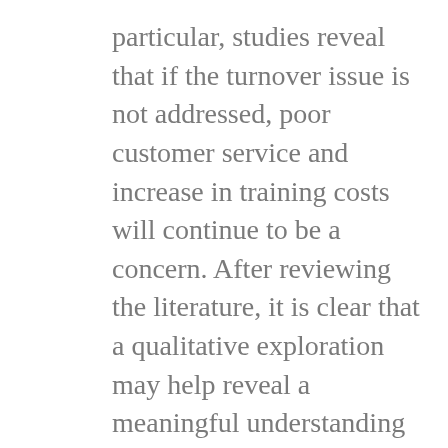particular, studies reveal that if the turnover issue is not addressed, poor customer service and increase in training costs will continue to be a concern. After reviewing the literature, it is clear that a qualitative exploration may help reveal a meaningful understanding of the turnover issue and how it might be improved. The following research question was developed in support of this problem: Research Question 1: How do bank managers perceive reducing high turnover in their banking institutions? Scenario: Research has demonstrated